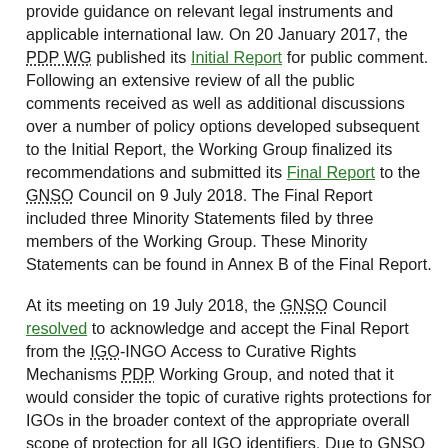provide guidance on relevant legal instruments and applicable international law. On 20 January 2017, the PDP WG published its Initial Report for public comment. Following an extensive review of all the public comments received as well as additional discussions over a number of policy options developed subsequent to the Initial Report, the Working Group finalized its recommendations and submitted its Final Report to the GNSO Council on 9 July 2018. The Final Report included three Minority Statements filed by three members of the Working Group. These Minority Statements can be found in Annex B of the Final Report.

At its meeting on 19 July 2018, the GNSO Council resolved to acknowledge and accept the Final Report from the IGO-INGO Access to Curative Rights Mechanisms PDP Working Group, and noted that it would consider the topic of curative rights protections for IGOs in the broader context of the appropriate overall scope of protection for all IGO identifiers. Due to GNSO Council concerns, the Final Report was discussed